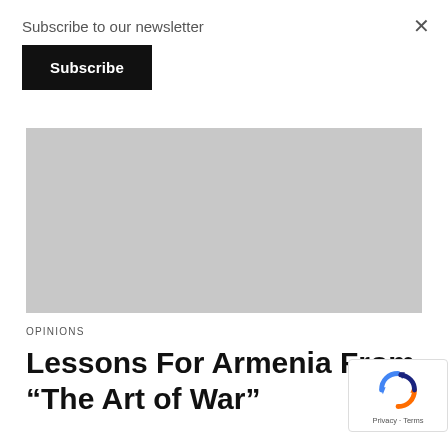Subscribe to our newsletter
Subscribe
×
[Figure (photo): Gray placeholder image for an article photo]
OPINIONS
Lessons For Armenia From “The Art of War”